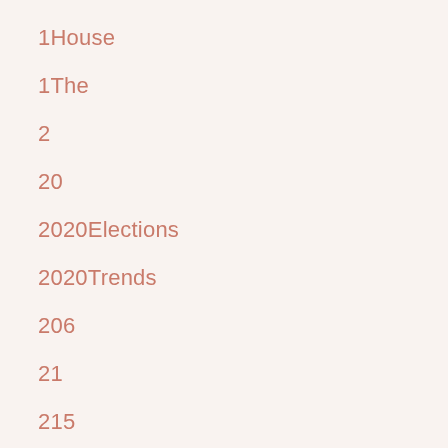1House
1The
2
20
2020Elections
2020Trends
206
21
215
22
23
2320
24
25